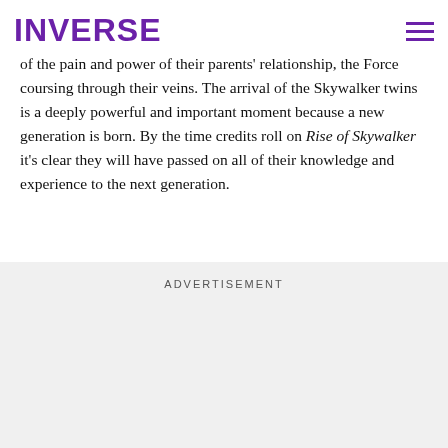INVERSE
what is passed down to us from the generations who have gone before us. With the birth of Luke and Leia comes the inheritance of the pain and power of their parents' relationship, the Force coursing through their veins. The arrival of the Skywalker twins is a deeply powerful and important moment because a new generation is born. By the time credits roll on Rise of Skywalker it's clear they will have passed on all of their knowledge and experience to the next generation.
ADVERTISEMENT